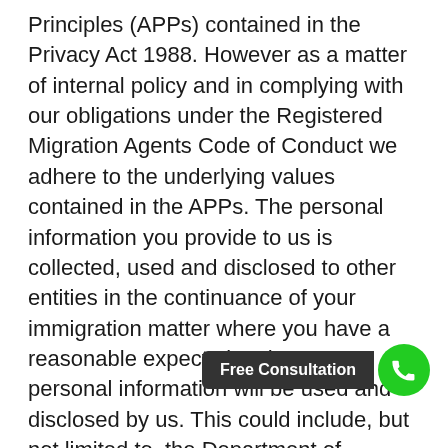Principles (APPs) contained in the Privacy Act 1988. However as a matter of internal policy and in complying with our obligations under the Registered Migration Agents Code of Conduct we adhere to the underlying values contained in the APPs. The personal information you provide to us is collected, used and disclosed to other entities in the continuance of your immigration matter where you have a reasonable expectation that your personal information will be used and disclosed by us. This could include, but not limited to, the Department of Immigration and Border Protection, skills assessing authorities, your sponsor (family sponsor or employer sponsor/nominator), regional certifying bodies (and) State or Territory Governments (for